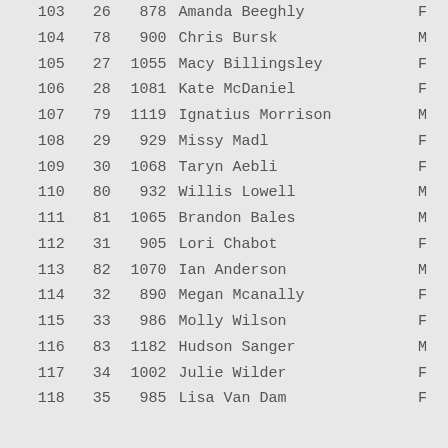| Rank | Gen Rank | Bib | Name | Sex |
| --- | --- | --- | --- | --- |
| 103 | 26 | 878 | Amanda Beeghly | F |
| 104 | 78 | 900 | Chris Bursk | M |
| 105 | 27 | 1055 | Macy Billingsley | F |
| 106 | 28 | 1081 | Kate McDaniel | F |
| 107 | 79 | 1119 | Ignatius Morrison | M |
| 108 | 29 | 929 | Missy Madl | F |
| 109 | 30 | 1068 | Taryn Aebli | F |
| 110 | 80 | 932 | Willis Lowell | M |
| 111 | 81 | 1065 | Brandon Bales | M |
| 112 | 31 | 905 | Lori Chabot | F |
| 113 | 82 | 1070 | Ian Anderson | M |
| 114 | 32 | 890 | Megan Mcanally | F |
| 115 | 33 | 986 | Molly Wilson | F |
| 116 | 83 | 1182 | Hudson Sanger | M |
| 117 | 34 | 1002 | Julie Wilder | F |
| 118 | 35 | 985 | Lisa Van Dam | F |